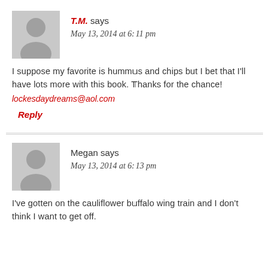[Figure (illustration): Grey avatar silhouette placeholder icon for user T.M.]
T.M. says
May 13, 2014 at 6:11 pm
I suppose my favorite is hummus and chips but I bet that I'll have lots more with this book. Thanks for the chance! lockesdaydreams@aol.com
Reply
[Figure (illustration): Grey avatar silhouette placeholder icon for user Megan]
Megan says
May 13, 2014 at 6:13 pm
I've gotten on the cauliflower buffalo wing train and I don't think I want to get off.